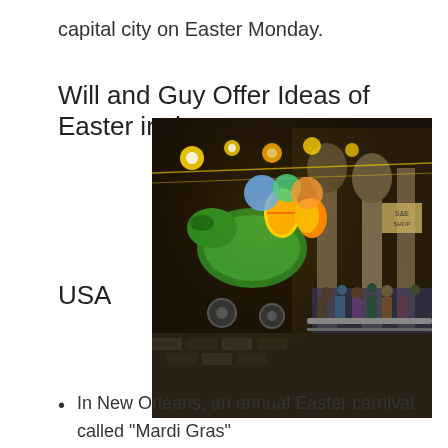capital city on Easter Monday.
Will and Guy Offer Ideas of Easter in the USA
[Figure (photo): Night-time Easter/Mardi Gras parade in New Orleans with colorful floats, decorations including large Easter eggs and green dragon figures, crowds lining the street behind barriers, illuminated buildings in background.]
In New Orleans, an annual Easter carnival called "Mardi Gras" occurs, which features lot of fun activities like parade, jazz music